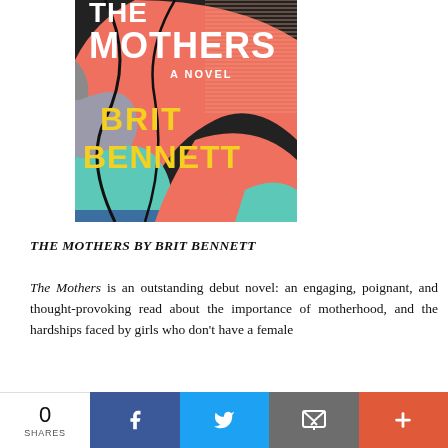[Figure (illustration): Book cover of 'The Mothers' - A Novel by Brit Bennett. Colorful abstract design with text MOTHERS in white block letters, BRIT BENNETT in yellow block letters, with coral/orange, teal, blue, gray abstract shapes.]
THE MOTHERS BY BRIT BENNETT
The Mothers is an outstanding debut novel: an engaging, poignant, and thought-provoking read about the importance of motherhood, and the hardships faced by girls who don't have a female figure in their lives and who…
0 SHARES | Facebook | Twitter | Email | More